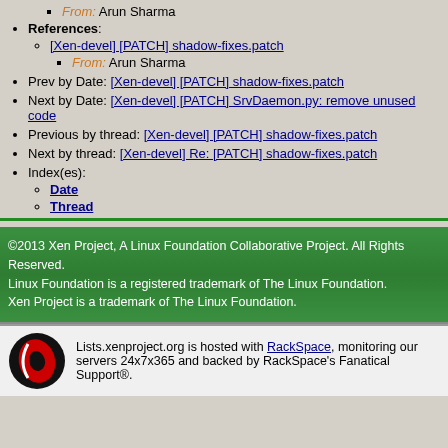From: Arun Sharma
References:
[Xen-devel] [PATCH] shadow-fixes.patch
From: Arun Sharma
Prev by Date: [Xen-devel] [PATCH] shadow-fixes.patch
Next by Date: [Xen-devel] [PATCH] SrvDaemon.py: remove unused code
Previous by thread: [Xen-devel] [PATCH] shadow-fixes.patch
Next by thread: [Xen-devel] Re: [PATCH] shadow-fixes.patch
Index(es):
Date
Thread
©2013 Xen Project, A Linux Foundation Collaborative Project. All Rights Reserved. Linux Foundation is a registered trademark of The Linux Foundation. Xen Project is a trademark of The Linux Foundation.
Lists.xenproject.org is hosted with RackSpace, monitoring our servers 24x7x365 and backed by RackSpace's Fanatical Support®.